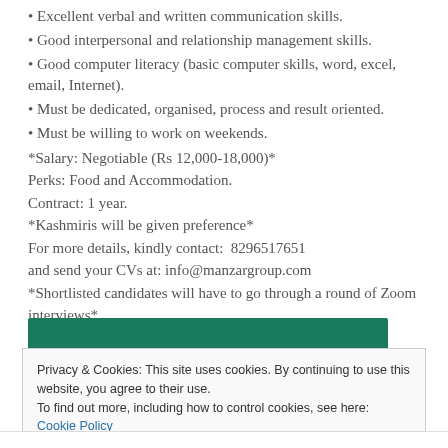Excellent verbal and written communication skills.
Good interpersonal and relationship management skills.
Good computer literacy (basic computer skills, word, excel, email, Internet).
Must be dedicated, organised, process and result oriented.
Must be willing to work on weekends.
*Salary: Negotiable (Rs 12,000-18,000)*
Perks: Food and Accommodation.
Contract: 1 year.
*Kashmiris will be given preference*
For more details, kindly contact:  8296517651
and send your CVs at: info@manzargroup.com
*Shortlisted candidates will have to go through a round of Zoom interviews*
[Figure (other): Green horizontal bar button]
Privacy & Cookies: This site uses cookies. By continuing to use this website, you agree to their use. To find out more, including how to control cookies, see here: Cookie Policy
Close and accept